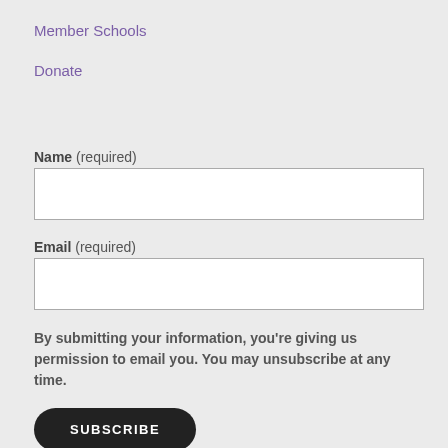Member Schools
Donate
Name (required)
Email (required)
By submitting your information, you're giving us permission to email you. You may unsubscribe at any time.
SUBSCRIBE